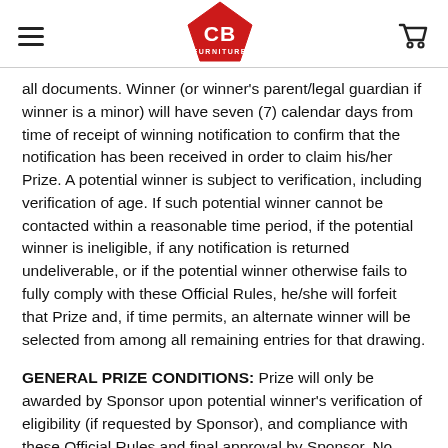CB Furniture logo and navigation header
all documents. Winner (or winner's parent/legal guardian if winner is a minor) will have seven (7) calendar days from time of receipt of winning notification to confirm that the notification has been received in order to claim his/her Prize. A potential winner is subject to verification, including verification of age. If such potential winner cannot be contacted within a reasonable time period, if the potential winner is ineligible, if any notification is returned undeliverable, or if the potential winner otherwise fails to fully comply with these Official Rules, he/she will forfeit that Prize and, if time permits, an alternate winner will be selected from among all remaining entries for that drawing.
GENERAL PRIZE CONDITIONS: Prize will only be awarded by Sponsor upon potential winner's verification of eligibility (if requested by Sponsor), and compliance with these Official Rules and final approval by Sponsor. No prize substitution, cash equivalent of Prize, transfer or assignment of Prize is permitted, except by Sponsor which reserves the right to substitute a Prize with one of comparable or greater value, in its